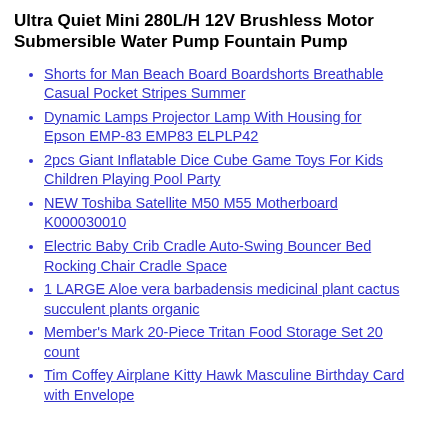Ultra Quiet Mini 280L/H 12V Brushless Motor Submersible Water Pump Fountain Pump
Shorts for Man Beach Board Boardshorts Breathable Casual Pocket Stripes Summer
Dynamic Lamps Projector Lamp With Housing for Epson EMP-83 EMP83 ELPLP42
2pcs Giant Inflatable Dice Cube Game Toys For Kids Children Playing Pool Party
NEW Toshiba Satellite M50 M55 Motherboard K000030010
Electric Baby Crib Cradle Auto-Swing Bouncer Bed Rocking Chair Cradle Space
1 LARGE Aloe vera barbadensis medicinal plant cactus succulent plants organic
Member's Mark 20-Piece Tritan Food Storage Set 20 count
Tim Coffey Airplane Kitty Hawk Masculine Birthday Card with Envelope